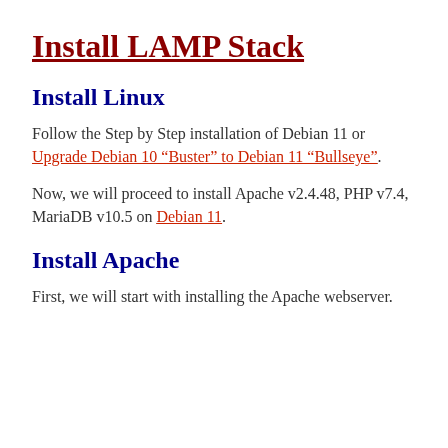Install LAMP Stack
Install Linux
Follow the Step by Step installation of Debian 11 or Upgrade Debian 10 “Buster” to Debian 11 “Bullseye”.
Now, we will proceed to install Apache v2.4.48, PHP v7.4, MariaDB v10.5 on Debian 11.
Install Apache
First, we will start with installing the Apache webserver.